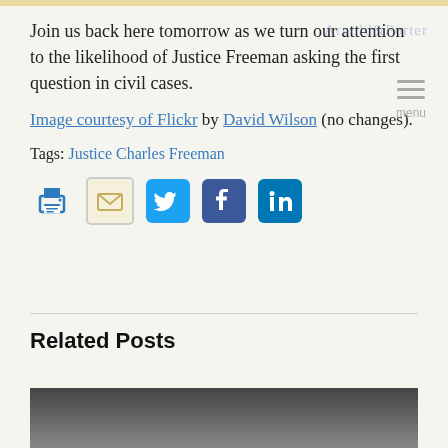Join us back here tomorrow as we turn our attention to the likelihood of Justice Freeman asking the first question in civil cases.
Image courtesy of Flickr by David Wilson (no changes).
Tags: Justice Charles Freeman
[Figure (infographic): Social sharing icons: print, email, Twitter, Facebook, LinkedIn]
Related Posts
[Figure (photo): Partial photo of a related post, dark background with a white geometric object]